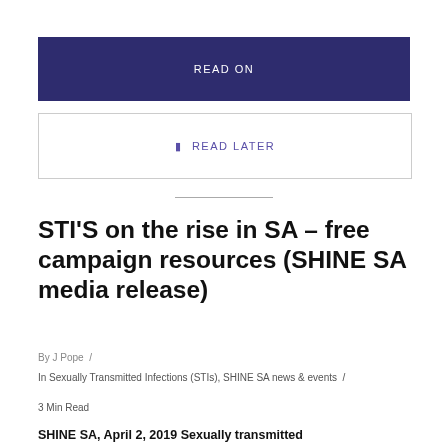READ ON
READ LATER
STI'S on the rise in SA – free campaign resources (SHINE SA media release)
By J Pope /
In Sexually Transmitted Infections (STIs), SHINE SA news & events /
3 Min Read
SHINE SA, April 2, 2019 Sexually transmitted